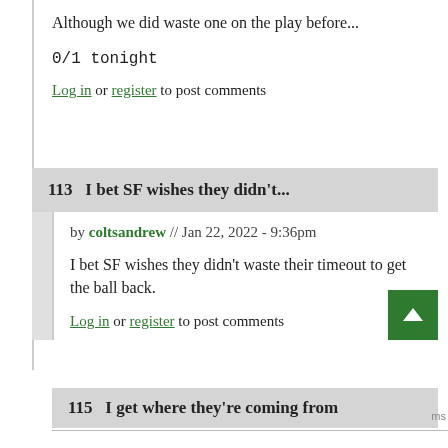Although we did waste one on the play before...
0/1 tonight
Log in or register to post comments
113   I bet SF wishes they didn't...
by coltsandrew // Jan 22, 2022 - 9:36pm
I bet SF wishes they didn't waste their timeout to get the ball back.
Log in or register to post comments
115   I get where they're coming from